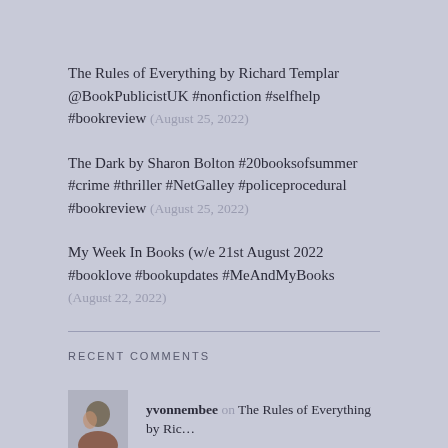The Rules of Everything by Richard Templar @BookPublicistUK #nonfiction #selfhelp #bookreview (August 25, 2022)
The Dark by Sharon Bolton #20booksofsummer #crime #thriller #NetGalley #policeprocedural #bookreview (August 25, 2022)
My Week In Books (w/e 21st August 2022 #booklove #bookupdates #MeAndMyBooks (August 22, 2022)
RECENT COMMENTS
yvonnembee on The Rules of Everything by Ric...
nickimags @ Secret L.... on The Rules of Everything by